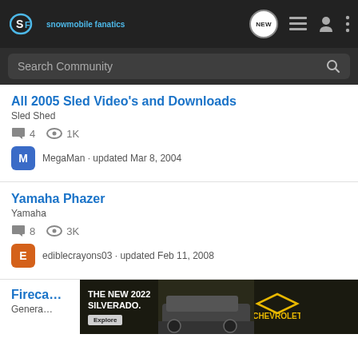Snowmobile Fanatics — header with logo, NEW button, and navigation icons
Search Community
All 2005 Sled Video's and Downloads
Sled Shed
4 replies · 1K views
MegaMan · updated Mar 8, 2004
Yamaha Phazer
Yamaha
8 replies · 3K views
ediblecrayons03 · updated Feb 11, 2008
Fireca…
Genera…
[Figure (screenshot): Advertisement banner for Chevrolet 2022 Silverado truck with 'THE NEW 2022 SILVERADO.' headline, Explore button, truck image, and Chevrolet logo]